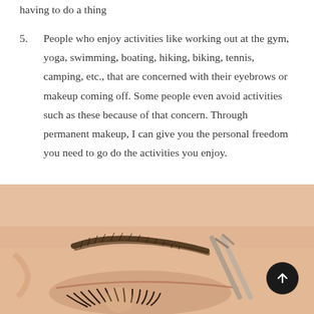having to do a thing
5. People who enjoy activities like working out at the gym, yoga, swimming, boating, hiking, biking, tennis, camping, etc., that are concerned with their eyebrows or makeup coming off. Some people even avoid activities such as these because of that concern. Through permanent makeup, I can give you the personal freedom you need to go do the activities you enjoy.
[Figure (photo): Close-up photo of a woman's face showing an eyebrow being groomed/shaped with a tool, depicting permanent makeup or eyebrow treatment. A dark circular scroll-to-top button overlays the bottom right.]